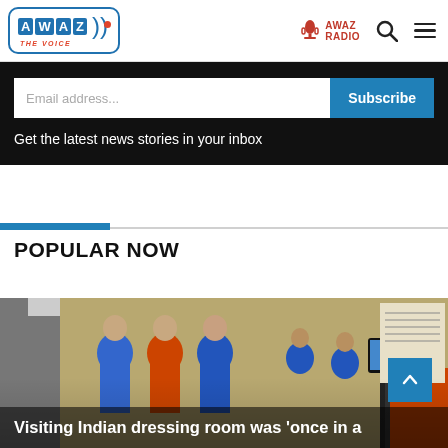AWAZ THE VOICE | AWAZ RADIO
Email address...
Subscribe
Get the latest news stories in your inbox
POPULAR NOW
[Figure (photo): Cricket players in a dressing room, some wearing blue and orange jerseys, one taking a photo with a phone]
Visiting Indian dressing room was 'once in a